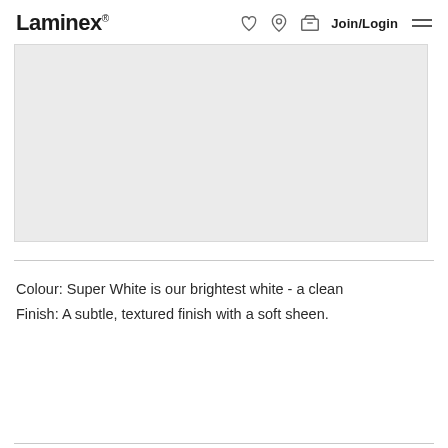Laminex | Join/Login
[Figure (photo): Light grey product image placeholder rectangle for Laminex laminate sample]
Colour: Super White is our brightest white - a clean
Finish: A subtle, textured finish with a soft sheen.